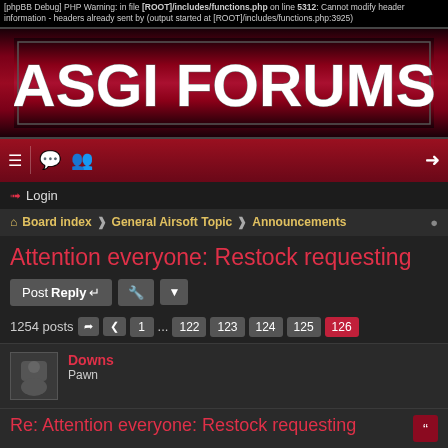[phpBB Debug] PHP Warning: in file [ROOT]/includes/functions.php on line 5312: Cannot modify header information - headers already sent by (output started at [ROOT]/includes/functions.php:3925)
[Figure (logo): ASGI FORUMS logo with white text on dark red gradient background]
Navigation bar with menu, chat, members icons and login icon on right
Login
Board index > General Airsoft Topic > Announcements
Attention everyone: Restock requesting
Post Reply [tool button]
1254 posts  1 ... 122 123 124 125 126
Downs
Pawn
Re: Attention everyone: Restock requesting
Tue Feb 18, 2014 6:37 pm